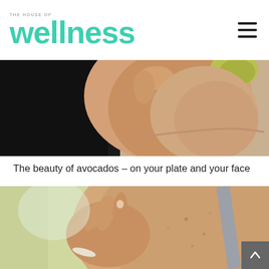The House of Wellness
[Figure (photo): Close-up photo of a person's neck/face area with hand touching skin, cropped to show a partial view]
The beauty of avocados – on your plate and your face
[Figure (photo): Photo of a person's bare shoulder being touched/examined by a hand, showing skin with small spots or blemishes, with a grey bra strap visible]